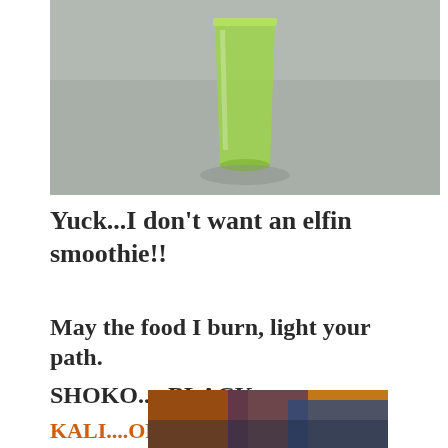[Figure (photo): Photo of a green smoothie in a glass on a gray surface, partially cropped at top]
Yuck...I don't want an elfin smoothie!!
May the food I burn, light your path.
SHOKO.....BLACK
KALI....ORANGE
[Figure (photo): Partially visible photo at bottom, showing autumn leaves and a blue sky or water, with warm orange/brown tones]